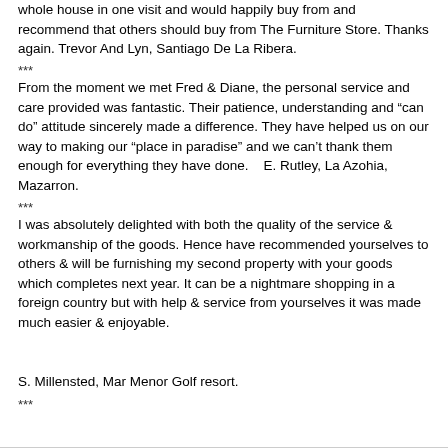whole house in one visit and would happily buy from and recommend that others should buy from The Furniture Store. Thanks again. Trevor And Lyn, Santiago De La Ribera.
***
From the moment we met Fred & Diane, the personal service and care provided was fantastic. Their patience, understanding and "can do" attitude sincerely made a difference. They have helped us on our way to making our "place in paradise" and we can't thank them enough for everything they have done.    E. Rutley, La Azohia, Mazarron.
***
I was absolutely delighted with both the quality of the service & workmanship of the goods. Hence have recommended yourselves to others & will be furnishing my second property with your goods which completes next year. It can be a nightmare shopping in a foreign country but with help & service from yourselves it was made much easier & enjoyable.
S. Millensted, Mar Menor Golf resort.
***